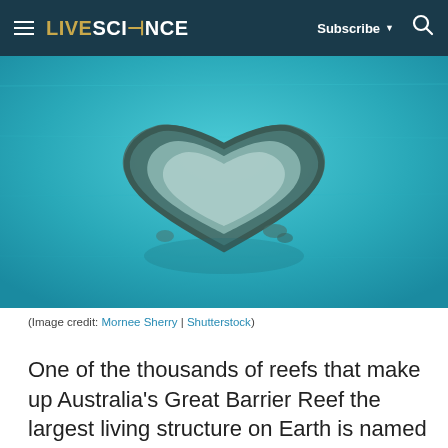LIVESCIENCE — Subscribe ▼ 🔍
[Figure (photo): Aerial photograph of Heart Reef in the Great Barrier Reef, Australia. A heart-shaped coral reef formation visible through clear turquoise water.]
(Image credit: Mornee Sherry | Shutterstock)
One of the thousands of reefs that make up Australia's Great Barrier Reef the largest living structure on Earth is named Heart Reef for its shape